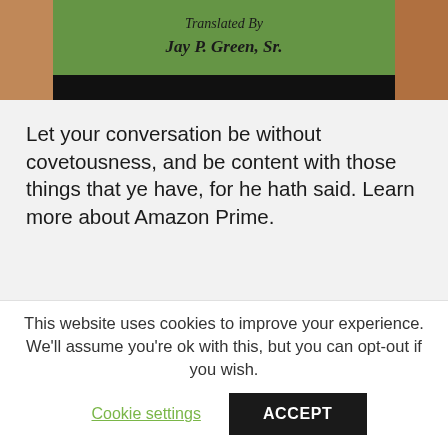[Figure (photo): Top portion of a book cover, showing italic text 'Translated By Jay P. Green, Sr.' on a green background, held by hands. Lower portion has a black bar.]
Let your conversation be without covetousness, and be content with those things that ye have, for he hath said. Learn more about Amazon Prime.
This website uses cookies to improve your experience. We'll assume you're ok with this, but you can opt-out if you wish.
Cookie settings
ACCEPT